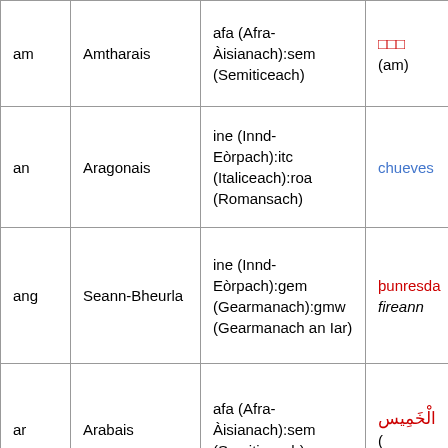| am | Amtharais | afa (Afra-Àisianach):sem (Semiticeach) | □□□ (am) |
| an | Aragonais | ine (Innd-Eòrpach):itc (Italiceach):roa (Romansach) | chueves |
| ang | Seann-Bheurla | ine (Innd-Eòrpach):gem (Gearmanach):gmw (Gearmanach an Iar) | þunresdà fireann |
| ar | Arabais | afa (Afra-Àisianach):sem (Semiticeach) | الْخَمِيس ( |
| ar | Arabais | afa (Afra-Àisianach):sem | الْخَمِيس , fireann |